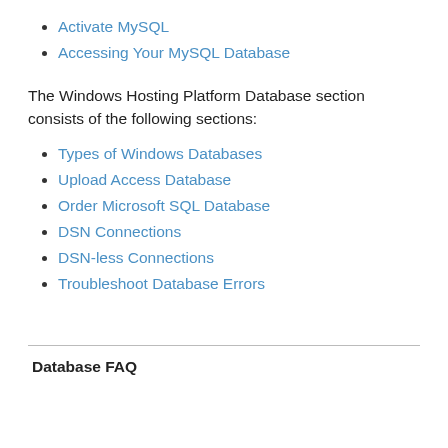Activate MySQL
Accessing Your MySQL Database
The Windows Hosting Platform Database section consists of the following sections:
Types of Windows Databases
Upload Access Database
Order Microsoft SQL Database
DSN Connections
DSN-less Connections
Troubleshoot Database Errors
Database FAQ